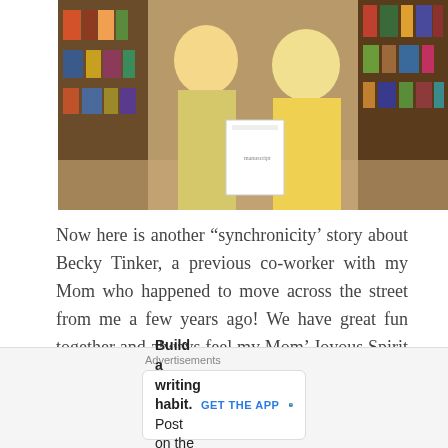[Figure (photo): Two women in yellow outfits standing together in a bookstore, one holding a document/manuscript. Bookshelves visible in background.]
Now here is another “synchronicity’ story about Becky Tinker, a previous co-worker with my Mom who happened to move across the street from me a few years ago! We have great fun together and always feel my Mom’ Joyous Spirit hovering around us when we go for our walks around the
Advertisements
Build a writing habit. Post on the go. GET THE APP